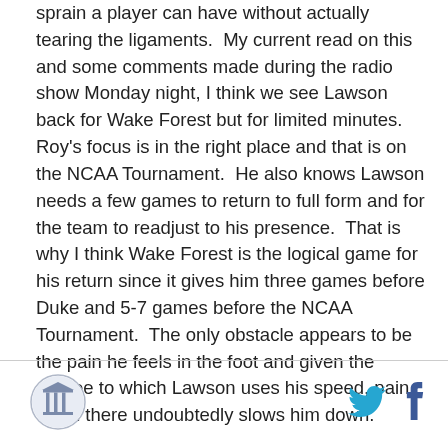sprain a player can have without actually tearing the ligaments.  My current read on this and some comments made during the radio show Monday night, I think we see Lawson back for Wake Forest but for limited minutes.  Roy's focus is in the right place and that is on the NCAA Tournament.  He also knows Lawson needs a few games to return to full form and for the team to readjust to his presence.  That is why I think Wake Forest is the logical game for his return since it gives him three games before Duke and 5-7 games before the NCAA Tournament.  The only obstacle appears to be the pain he feels in the foot and given the degree to which Lawson uses his speed, pain down there undoubtedly slows him down.
[Figure (logo): Circular logo with building/column icon, blue and white]
[Figure (logo): Twitter bird icon in cyan/light blue]
[Figure (logo): Facebook f icon in dark blue]